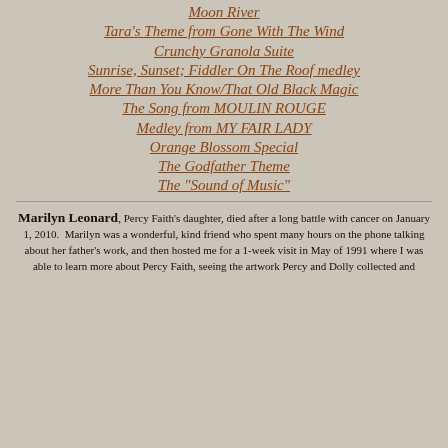Moon River
Tara's Theme from Gone With The Wind
Crunchy Granola Suite
Sunrise, Sunset; Fiddler On The Roof medley
More Than You Know/That Old Black Magic
The Song from MOULIN ROUGE
Medley from MY FAIR LADY
Orange Blossom Special
The Godfather Theme
The "Sound of Music"
Marilyn Leonard, Percy Faith's daughter, died after a long battle with cancer on January 1, 2010. Marilyn was a wonderful, kind friend who spent many hours on the phone talking about her father's work, and then hosted me for a 1-week visit in May of 1991 where I was able to learn more about Percy Faith, seeing the artwork Percy and Dolly collected and